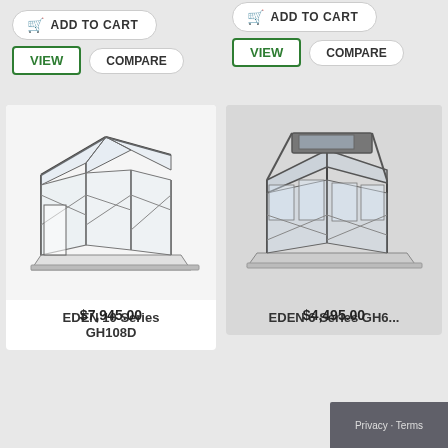[Figure (screenshot): Add to Cart button for left product with cart icon]
[Figure (screenshot): VIEW and COMPARE buttons for left product]
[Figure (screenshot): Add to Cart button for right product with cart icon]
[Figure (screenshot): VIEW and COMPARE buttons for right product]
[Figure (illustration): EDEN 10 Series GH108D greenhouse product image - glass greenhouse structure with dark frame]
EDEN 10 Series GH108D
$7,945.00
[Figure (illustration): EDEN 6 Series GH6 greenhouse product image - glass greenhouse structure with dark frame]
EDEN 6 Series GH6...
$4,495.00
Privacy · Terms